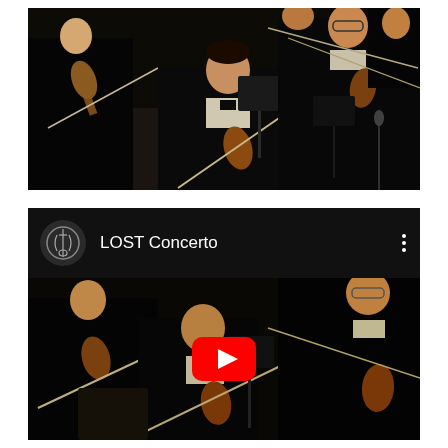[Figure (photo): Orchestra performance photo showing young musicians playing violins in formal black attire on a concert stage]
[Figure (screenshot): YouTube video embed showing 'LOST Concerto' with a logo icon, three-dot menu, and a play button overlay on a thumbnail of orchestra musicians playing violins]